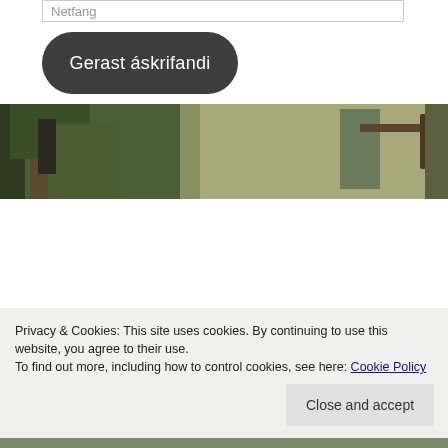Netfang
Gerast áskrifandi
[Figure (photo): Outdoor hunting/archery photo strip showing person climbing tree on left and person with archery bow on right]
Privacy & Cookies: This site uses cookies. By continuing to use this website, you agree to their use.
To find out more, including how to control cookies, see here: Cookie Policy
Close and accept